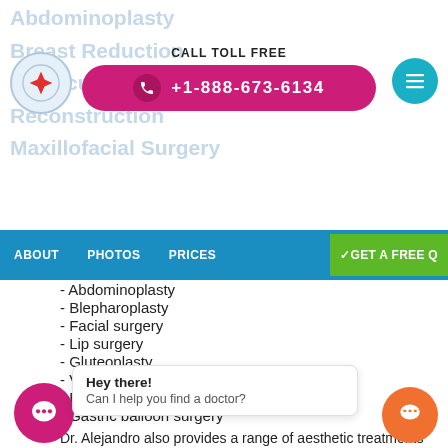CALL TOLL FREE +1-888-673-6134
- Abdominoplasty
- Blepharoplasty
- Facial surgery
- Lip surgery
- Gluteoplasty
- Varicose vein surgery
- Brachioplasty
- Gastric balloon surgery
Dr. Alejandro also provides a range of aesthetic treatments and services such as lipolysis, aesthetic acupuncture, bioplasty, chemical peels, thread lifts, facial rejuvenation, dermal fillers, lip augmentation, wrinkle treatments, hyaluronic acid treatment and diet advice
Hey there! Can I help you find a doctor?